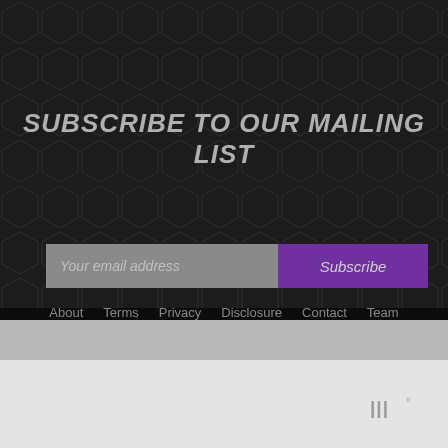SUBSCRIBE TO OUR MAILING LIST
Your email address
Subscribe
We use cookies on our website to give you the most relevant experience by remembering your preferences and repeat visits. By accepting, you consent to the use of all the cookies. our privacy policy, disclosure, and terms.
Accept
About   Terms   Privacy   Disclosure   Contact   Team